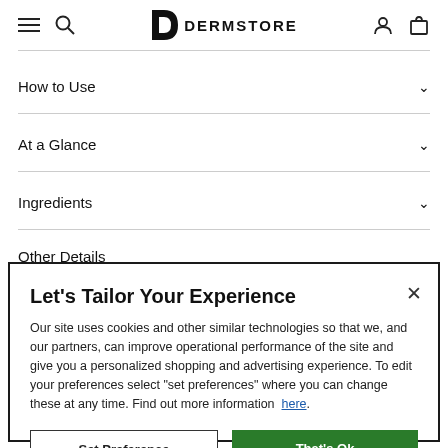DERMSTORE — navigation bar with hamburger menu, search, logo, user account, and cart icons
How to Use
At a Glance
Ingredients
Other Details (partially visible)
Let's Tailor Your Experience
Our site uses cookies and other similar technologies so that we, and our partners, can improve operational performance of the site and give you a personalized shopping and advertising experience. To edit your preferences select "set preferences" where you can change these at any time. Find out more information here.
Set Preference
That's Ok